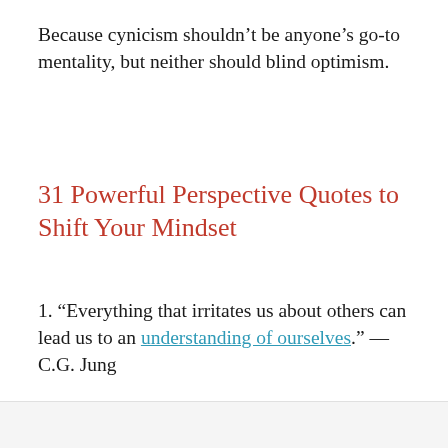Because cynicism shouldn’t be anyone’s go-to mentality, but neither should blind optimism.
31 Powerful Perspective Quotes to Shift Your Mindset
1. “Everything that irritates us about others can lead us to an understanding of ourselves.” — C.G. Jung